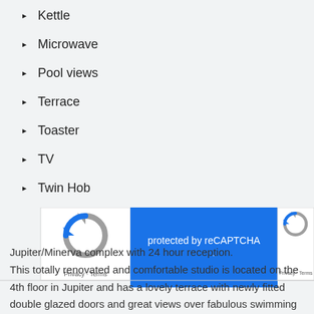Kettle
Microwave
Pool views
Terrace
Toaster
TV
Twin Hob
[Figure (screenshot): reCAPTCHA widget showing 'protected by reCAPTCHA' in blue panel with Google logo and Privacy/Terms links]
Jupiter/Minerva complex with 24 hour reception.
This totally renovated and comfortable studio is located on the 4th floor in Jupiter and has a lovely terrace with newly fitted double glazed doors and great views over fabulous swimming pools* and gardens, with afternoon sun.